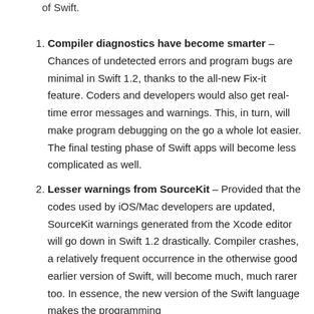of Swift.
Compiler diagnostics have become smarter – Chances of undetected errors and program bugs are minimal in Swift 1.2, thanks to the all-new Fix-it feature. Coders and developers would also get real-time error messages and warnings. This, in turn, will make program debugging on the go a whole lot easier. The final testing phase of Swift apps will become less complicated as well.
Lesser warnings from SourceKit – Provided that the codes used by iOS/Mac developers are updated, SourceKit warnings generated from the Xcode editor will go down in Swift 1.2 drastically. Compiler crashes, a relatively frequent occurrence in the otherwise good earlier version of Swift, will become much, much rarer too. In essence, the new version of the Swift language makes the programming